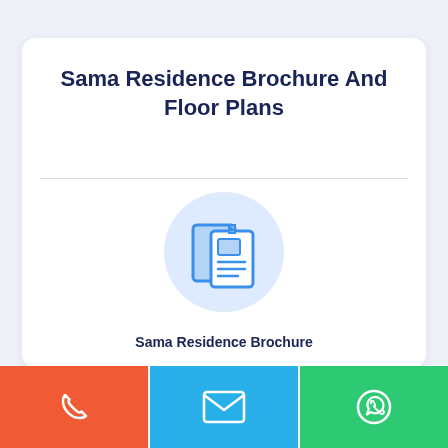Sama Residence Brochure And Floor Plans
[Figure (illustration): Brochure/document icon with two overlapping paper documents on a light blue circular background]
Sama Residence Brochure
[Figure (illustration): Three footer buttons: red phone icon, blue email/envelope icon, green WhatsApp icon]